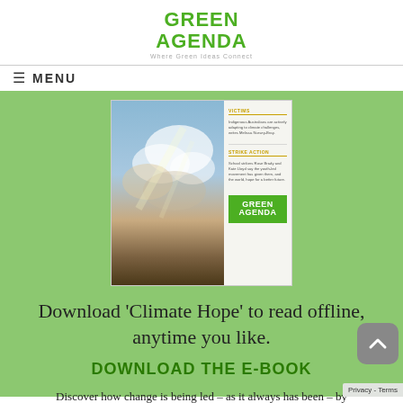GREEN AGENDA
Where Green Ideas Connect
≡ MENU
[Figure (photo): Cover of the 'Climate Hope' e-book by Green Agenda, showing a dramatic sky with clouds on the left and a sidebar with sections: VICTIMS (Indigenous Australians are actively adapting to climate challenges, writes Melissa Nursey-Bray) and STRIKE ACTION (School strikers Rose Brady and Kate Lloyd say the youth-led movement has given them, and the world, hope for a better future), plus a Green Agenda logo at the bottom.]
Download 'Climate Hope' to read offline, anytime you like.
DOWNLOAD THE E-BOOK
Discover how change is being led – as it always has been – by those communities deeply invested in a safer climate future. Join us as we examine what it means to have climate ho…